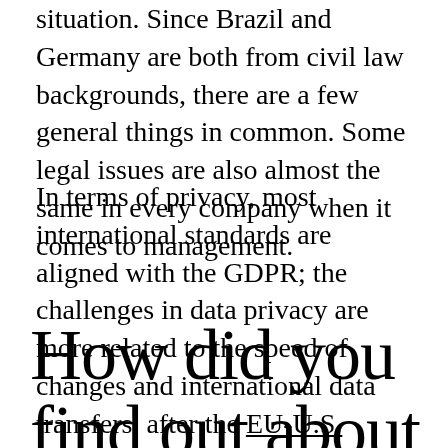situation. Since Brazil and Germany are both from civil law backgrounds, there are a few general things in common. Some legal issues are also almost the same in every company when it comes to management.
In terms of privacy, most international standards are aligned with the GDPR; the challenges in data privacy are more related to the speed of changes and international data transfers, after the EU-U.S. Privacy Shield invalidation last year.
How did you find out about Remerge? Why did you choose